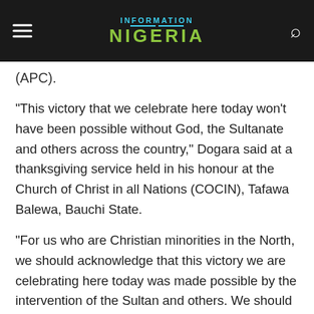Information Nigeria
(APC).
“This victory that we celebrate here today won’t have been possible without God, the Sultanate and others across the country,” Dogara said at a thanksgiving service held in his honour at the Church of Christ in all Nations (COCIN), Tafawa Balewa, Bauchi State.
“For us who are Christian minorities in the North, we should acknowledge that this victory we are celebrating here today was made possible by the intervention of the Sultan and others. We should know that there is new thinking in the North.
“We owe it a duty to make sure we unite our own part of the country and other parts of the country. My emergence as